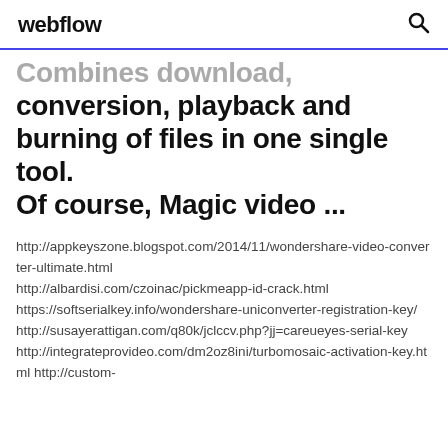webflow
Combines download, conversion, playback and burning of files in one single tool. Of course, Magic video ...
http://appkeyszone.blogspot.com/2014/11/wondershare-video-converter-ultimate.html http://albardisi.com/czoinac/pickmeapp-id-crack.html https://softserialkey.info/wondershare-uniconverter-registration-key/ http://susayerattigan.com/q80k/jclccv.php?jj=careueyes-serial-key http://integrateprovideo.com/dm2oz8ini/turbomosaic-activation-key.html http://custom-